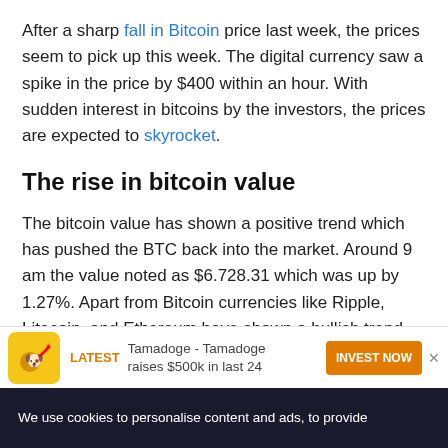After a sharp fall in Bitcoin price last week, the prices seem to pick up this week. The digital currency saw a spike in the price by $400 within an hour. With sudden interest in bitcoins by the investors, the prices are expected to skyrocket.
The rise in bitcoin value
The bitcoin value has shown a positive trend which has pushed the BTC back into the market. Around 9 am the value noted as $6.728.31 which was up by 1.27%. Apart from Bitcoin currencies like Ripple, Litecoin, and Ethereum have shown a bullish trend too. Ethereum saw an uptick of 1.54% to trade at $277.92. In the case of Ripple, the value has risen to $0.329328 after growth
[Figure (infographic): Advertisement banner: Tamadoge - Tamadoge raises $500k in last 24 with INVEST NOW button and close button]
We use cookies to personalise content and ads, to provide